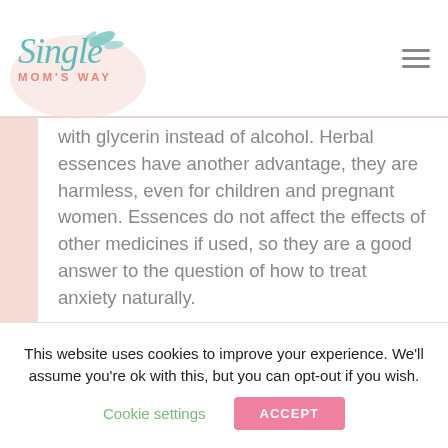Single Mom's Way
with glycerin instead of alcohol. Herbal essences have another advantage, they are harmless, even for children and pregnant women. Essences do not affect the effects of other medicines if used, so they are a good answer to the question of how to treat anxiety naturally.
Homeopathy And Anxiety
Here are some useful homeopathic remedies, especially for short-term crises, and they work well in combination with other therapies:
This website uses cookies to improve your experience. We'll assume you're ok with this, but you can opt-out if you wish.